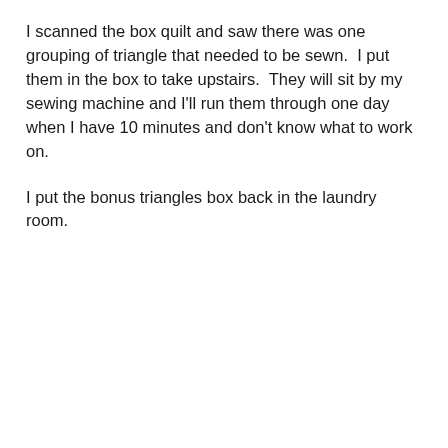I scanned the box quilt and saw there was one grouping of triangle that needed to be sewn.  I put them in the box to take upstairs.  They will sit by my sewing machine and I'll run them through one day when I have 10 minutes and don't know what to work on.
I put the bonus triangles box back in the laundry room.